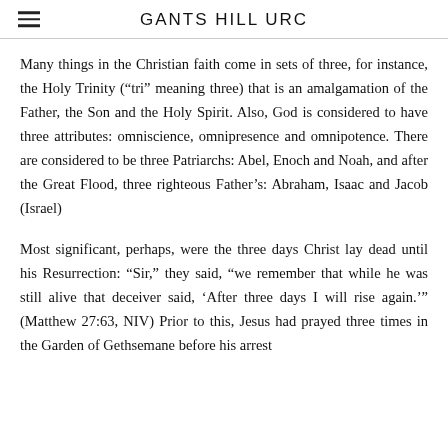GANTS HILL URC
Many things in the Christian faith come in sets of three, for instance, the Holy Trinity (“tri” meaning three) that is an amalgamation of the Father, the Son and the Holy Spirit. Also, God is considered to have three attributes: omniscience, omnipresence and omnipotence. There are considered to be three Patriarchs: Abel, Enoch and Noah, and after the Great Flood, three righteous Father’s: Abraham, Isaac and Jacob (Israel)
Most significant, perhaps, were the three days Christ lay dead until his Resurrection: “Sir,” they said, “we remember that while he was still alive that deceiver said, ‘After three days I will rise again.’” (Matthew 27:63, NIV) Prior to this, Jesus had prayed three times in the Garden of Gethsemane before his arrest